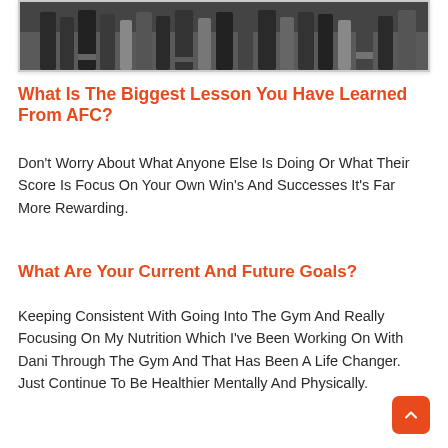[Figure (photo): Cropped photo showing legs/feet of a group of people standing together, wearing dark athletic clothing and socks]
What Is The Biggest Lesson You Have Learned From AFC?
Don't Worry About What Anyone Else Is Doing Or What Their Score Is Focus On Your Own Win's And Successes It's Far More Rewarding.
What Are Your Current And Future Goals?
Keeping Consistent With Going Into The Gym And Really Focusing On My Nutrition Which I've Been Working On With Dani Through The Gym And That Has Been A Life Changer. Just Continue To Be Healthier Mentally And Physically.